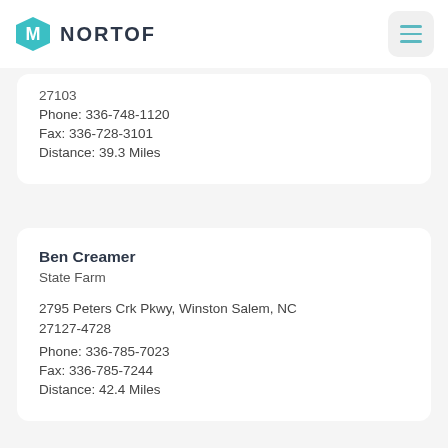NORTOF
27100
Phone: 336-748-1120
Fax: 336-728-3101
Distance: 39.3 Miles
Ben Creamer
State Farm
2795 Peters Crk Pkwy, Winston Salem, NC 27127-4728
Phone: 336-785-7023
Fax: 336-785-7244
Distance: 42.4 Miles